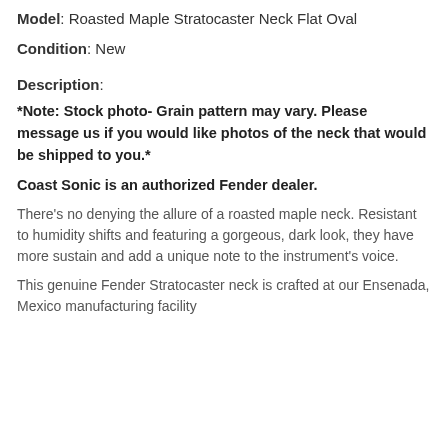Model: Roasted Maple Stratocaster Neck Flat Oval
Condition: New
Description:
*Note: Stock photo- Grain pattern may vary. Please message us if you would like photos of the neck that would be shipped to you.*
Coast Sonic is an authorized Fender dealer.
There’s no denying the allure of a roasted maple neck. Resistant to humidity shifts and featuring a gorgeous, dark look, they have more sustain and add a unique note to the instrument’s voice.
This genuine Fender Stratocaster neck is crafted at our Ensenada, Mexico manufacturing facility